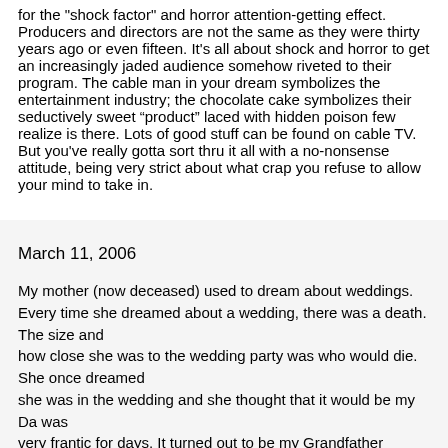for the "shock factor" and horror attention-getting effect. Producers and directors are not the same as they were thirty years ago or even fifteen. It's all about shock and horror to get an increasingly jaded audience somehow riveted to their program. The cable man in your dream symbolizes the entertainment industry; the chocolate cake symbolizes their seductively sweet “product” laced with hidden poison few realize is there. Lots of good stuff can be found on cable TV. But you've really gotta sort thru it all with a no-nonsense attitude, being very strict about what crap you refuse to allow your mind to take in.
March 11, 2006
My mother (now deceased) used to dream about weddings.
Every time she dreamed about a wedding, there was a death. The size and
how close she was to the wedding party was who would die. She once dreamed
she was in the wedding and she thought that it would be my Da... was
very frantic for days. It turned out to be my Grandfather (Dad's...
who died. On occasion, I dream about weddings, myself. I'm wondering
if...